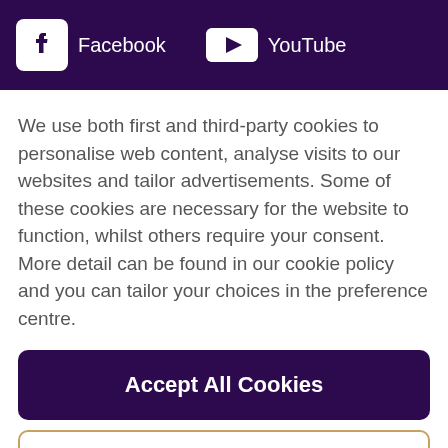Facebook  YouTube
We use both first and third-party cookies to personalise web content, analyse visits to our websites and tailor advertisements. Some of these cookies are necessary for the website to function, whilst others require your consent. More detail can be found in our cookie policy and you can tailor your choices in the preference centre.
Accept All Cookies
Cookies Settings